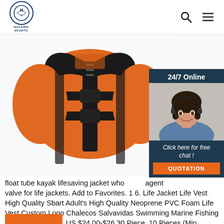HUAXING SPORTS
[Figure (photo): Orange and black life jacket / life vest with buckle straps, shown from front on white background]
[Figure (photo): 24/7 Online chat widget showing a female customer service agent wearing a headset, with 'Click here for free chat!' text and orange QUOTATION button]
float tube kayak lifesaving jacket who agent valve for life jackets. Add to Favorites. 1 6. Life Jacket Life Vest High Quality Sbart Adult's High Quality Neoprene PVC Foam Life Vest Custom Logo Chalecos Salvavidas Swimming Marine Fishing Kayak Life Jacket. US $24.00-$26.30 Piece. 10 Pieces (Min. Order) ... Get Price